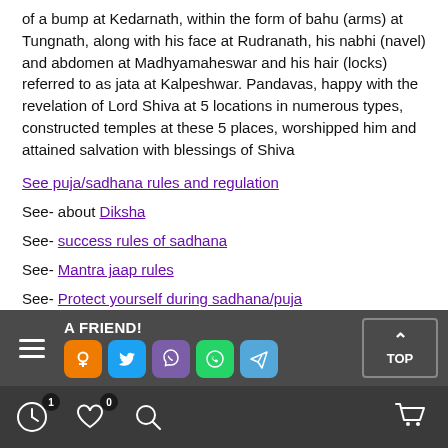of a bump at Kedarnath, within the form of bahu (arms) at Tungnath, along with his face at Rudranath, his nabhi (navel) and abdomen at Madhyamaheswar and his hair (locks) referred to as jata at Kalpeshwar. Pandavas, happy with the revelation of Lord Shiva at 5 locations in numerous types, constructed temples at these 5 places, worshipped him and attained salvation with blessings of Shiva
See puja/sadhana rules and regulation
See- about Diksha
See- success rules of sadhana
See- Mantra jaap rules
See- Protect yourself during sadhana/puja
A FRIEND! [social icons: OK, Twitter, Viber, WhatsApp, Telegram] TOP